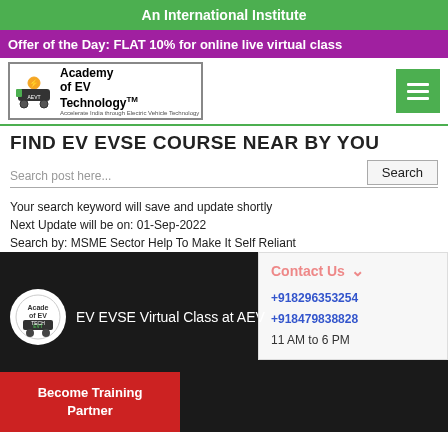An International Institute
Offer of the Day: FLAT 10% for online live virtual class
[Figure (logo): Academy of EV Technology logo with TM mark, electric vehicle icon]
FIND EV EVSE COURSE NEAR BY YOU
Search post here...
Your search keyword will save and update shortly
Next Update will be on: 01-Sep-2022
Search by: MSME Sector Help To Make It Self Reliant
[Figure (screenshot): Video thumbnail showing EV EVSE Virtual Class at AEV with academy logo, dark background]
Become Training Partner
Contact Us
+918296353254
+918479838828
11 AM to 6 PM